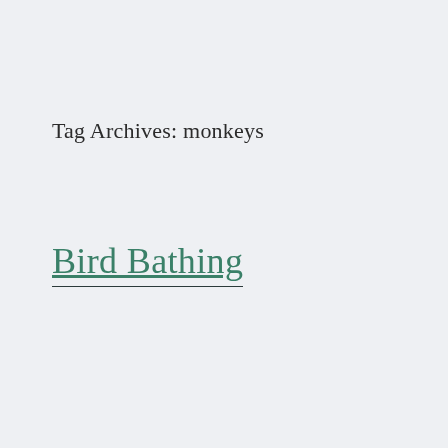Tag Archives: monkeys
Bird Bathing